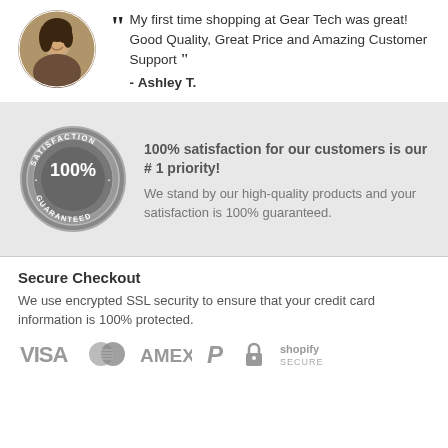[Figure (photo): Circular avatar photo of Ashley T., a woman smiling]
" My first time shopping at Gear Tech was great! Good Quality, Great Price and Amazing Customer Support " - Ashley T.
[Figure (illustration): 100% Satisfaction Guaranteed badge/seal in grey tones]
100% satisfaction for our customers is our # 1 priority!
We stand by our high-quality products and your satisfaction is 100% guaranteed.
Secure Checkout
We use encrypted SSL security to ensure that your credit card information is 100% protected.
[Figure (logo): Payment method logos: VISA, Mastercard, AMEX, PayPal, lock icon, Shopify Secure]